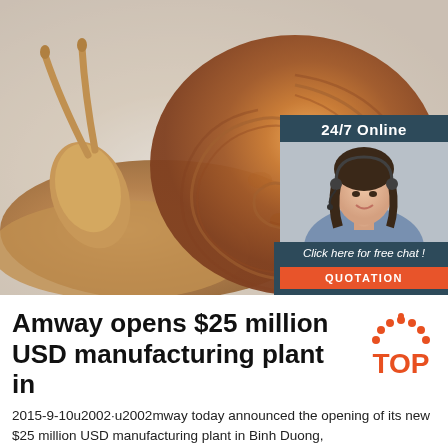[Figure (photo): Close-up photo of a large garden snail with a brown striped shell on a light grey/white background, with an overlaid advertisement box in the upper right showing '24/7 Online', a woman with a headset, text 'Click here for free chat!', and an orange 'QUOTATION' button on a dark blue-grey background.]
Amway opens $25 million USD manufacturing plant in
[Figure (logo): TOP badge logo — orange/red dotted arc above the word TOP in orange on white background]
2015-9-10u2002·u2002mway today announced the opening of its new $25 million USD manufacturing plant in Binh Duong,